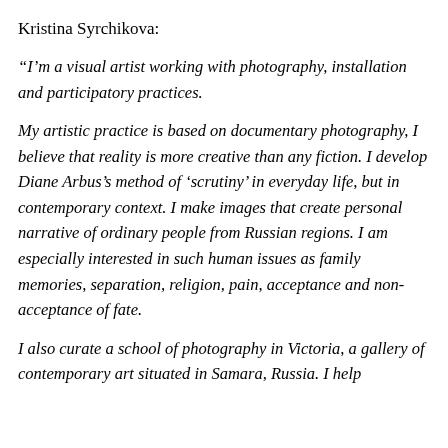Kristina Syrchikova:
“I’m a visual artist working with photography, installation and participatory practices.
My artistic practice is based on documentary photography, I believe that reality is more creative than any fiction. I develop Diane Arbus’s method of ‘scrutiny’ in everyday life, but in contemporary context. I make images that create personal narrative of ordinary people from Russian regions. I am especially interested in such human issues as family memories, separation, religion, pain, acceptance and non-acceptance of fate.
I also curate a school of photography in Victoria, a gallery of contemporary art situated in Samara, Russia. I help